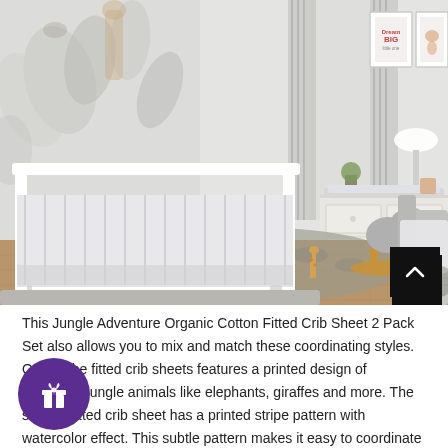[Figure (photo): A styled nursery room with a white wooden crib adorned with patterned crib sheets, a stuffed elephant rocking horse toy, a white dresser with changing pad on top, a gray upholstered glider chair with a white blanket, a decorative jungle animal mural wallpaper, gray striped curtains, a white lamp, framed wall art, a giraffe toy, a basket, and a textured gray area rug on hardwood floors.]
This Jungle Adventure Organic Cotton Fitted Crib Sheet 2 Pack Set also allows you to mix and match these coordinating styles. One of the fitted crib sheets features a printed design of traditional jungle animals like elephants, giraffes and more. The second fitted crib sheet has a printed stripe pattern with watercolor effect. This subtle pattern makes it easy to coordinate with the...